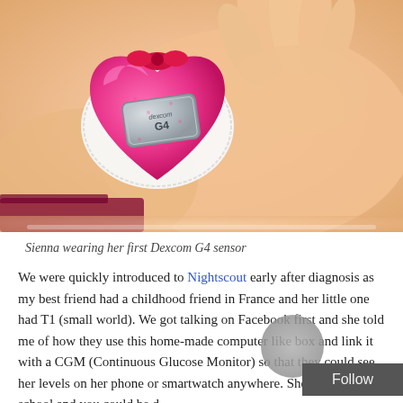[Figure (photo): Close-up photo of a child's arm wearing a pink heart-shaped cover over a Dexcom G4 continuous glucose monitor sensor. The device is visible through a cutout in the pink fabric cover which has a red bow decoration.]
Sienna wearing her first Dexcom G4 sensor
We were quickly introduced to Nightscout early after diagnosis as my best friend had a childhood friend in France and her little one had T1 (small world). We got talking on Facebook first and she told me of how they use this home-made computer like box and link it with a CGM (Continuous Glucose Monitor) so that they could see her levels on her phone or smartwatch anywhere. She could be at school and you could be d...